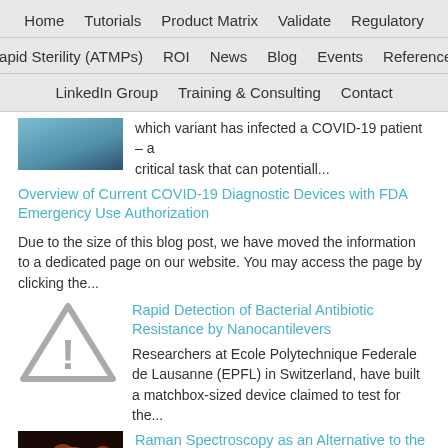Home  Tutorials  Product Matrix  Validate  Regulatory  Rapid Sterility (ATMPs)  ROI  News  Blog  Events  References  LinkedIn Group  Training & Consulting  Contact
which variant has infected a COVID-19 patient – a critical task that can potentiall...
Overview of Current COVID-19 Diagnostic Devices with FDA Emergency Use Authorization
Due to the size of this blog post, we have moved the information to a dedicated page on our website. You may access the page by clicking the...
Rapid Detection of Bacterial Antibiotic Resistance by Nanocantilevers
Researchers at Ecole Polytechnique Federale de Lausanne (EPFL) in Switzerland, have built a matchbox-sized device claimed to test for the...
Raman Spectroscopy as an Alternative to the